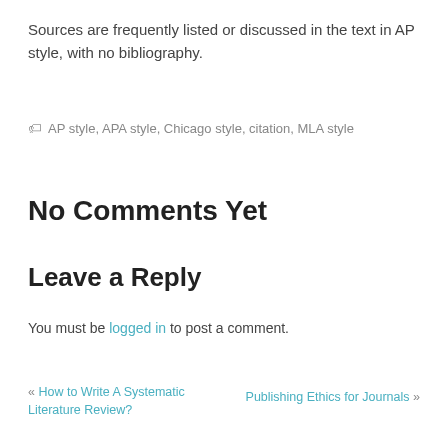Sources are frequently listed or discussed in the text in AP style, with no bibliography.
AP style, APA style, Chicago style, citation, MLA style
No Comments Yet
Leave a Reply
You must be logged in to post a comment.
« How to Write A Systematic Literature Review?
Publishing Ethics for Journals »